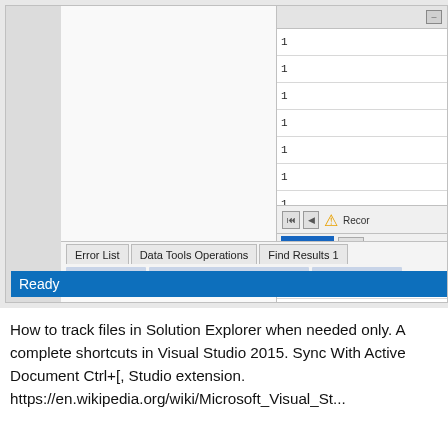[Figure (screenshot): Visual Studio IDE screenshot showing a large white editor area on the left, a right panel with a data grid containing numbered rows (partially cropped, showing numbers starting with 1), navigation controls including arrow buttons and a warning icon, a 'Data' button toolbar, tab bar with 'Error List', 'Data Tools Operations', and 'Find Results 1' tabs, and a blue 'Ready' status bar at the bottom.]
How to track files in Solution Explorer when needed only. A complete shortcuts in Visual Studio 2015. Sync With Active Document Ctrl+[, Studio extension. https://en.wikipedia.org/wiki/Microsoft_Visual_St...